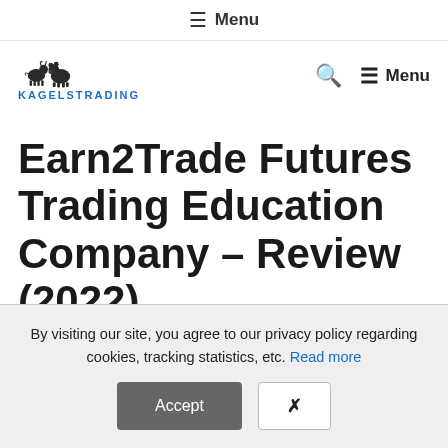≡ Menu
[Figure (logo): KagelsTrading logo with bull and bear animal silhouettes above the text KAGELSTRADING in blue]
Earn2Trade Futures Trading Education Company – Review (2022)
by Jonna Johnston
By visiting our site, you agree to our privacy policy regarding cookies, tracking statistics, etc. Read more